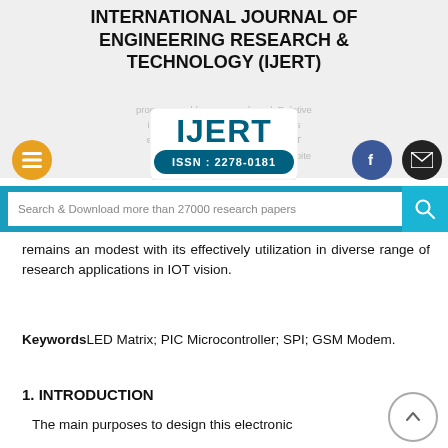INTERNATIONAL JOURNAL OF ENGINEERING RESEARCH & TECHNOLOGY (IJERT)
[Figure (logo): IJERT logo with ISSN: 2278-0181]
Search & Download more than 27000 research papers
remains an modest with its effectively utilization in diverse range of research applications in IOT vision.
KeywordsLED Matrix; PIC Microcontroller; SPI; GSM Modem.
1. INTRODUCTION
The main purposes to design this electronic